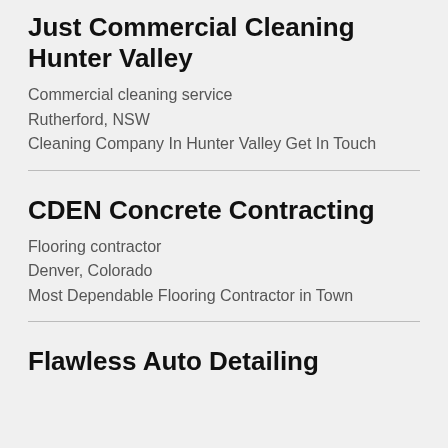Just Commercial Cleaning Hunter Valley
Commercial cleaning service
Rutherford, NSW
Cleaning Company In Hunter Valley Get In Touch
CDEN Concrete Contracting
Flooring contractor
Denver, Colorado
Most Dependable Flooring Contractor in Town
Flawless Auto Detailing